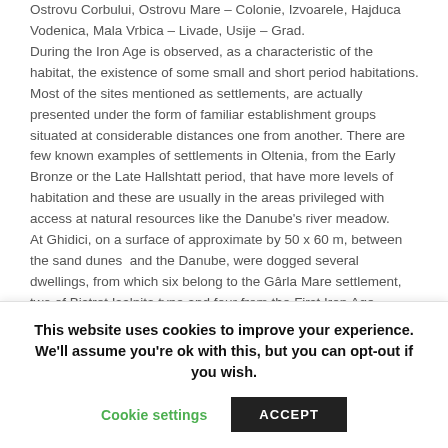Ostrovu Corbului, Ostrovu Mare – Colonie, Izvoarele, Hajduca Vodenica, Mala Vrbica – Livade, Usije – Grad.
During the Iron Age is observed, as a characteristic of the habitat, the existence of some small and short period habitations. Most of the sites mentioned as settlements, are actually presented under the form of familiar establishment groups situated at considerable distances one from another. There are few known examples of settlements in Oltenia, from the Early Bronze or the Late Hallshtatt period, that have more levels of habitation and these are usually in the areas privileged with access at natural resources like the Danube's river meadow.
At Ghidici, on a surface of approximate by 50 x 60 m, between the sand dunes and the Danube, were dogged several dwellings, from which six belong to the Gârla Mare settlement, two of Bistret Isalnita type and four from the First Iron Age.
In the Late Bronze period and especially in the First Iron Age it
This website uses cookies to improve your experience. We'll assume you're ok with this, but you can opt-out if you wish.
Cookie settings    ACCEPT